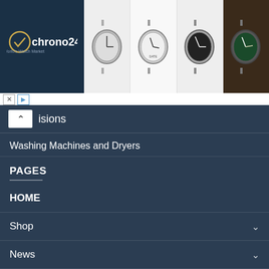[Figure (screenshot): Chrono24 advertisement banner with logo on dark blue background and four watch images]
isions
Washing Machines and Dryers
PAGES
HOME
Shop
News
Blog
ABOUT US